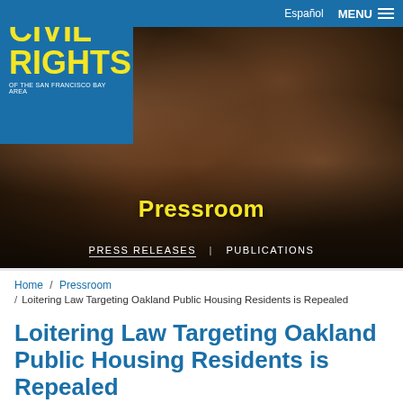LAWYERS' COMMITTEE FOR CIVIL RIGHTS OF THE SAN FRANCISCO BAY AREA
Español  MENU
[Figure (photo): Protest crowd photo with people holding signs and a megaphone, with 'Pressroom' title overlay and navigation links 'PRESS RELEASES | PUBLICATIONS']
Home / Pressroom / Loitering Law Targeting Oakland Public Housing Residents is Repealed
Loitering Law Targeting Oakland Public Housing Residents is Repealed